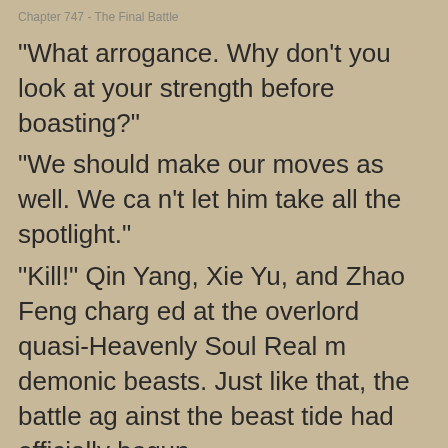Chapter 747 - The Final Battle
“What arrogance. Why don’t you look at your strength before boasting?”
“We should make our moves as well. We can’t let him take all the spotlight.”
“Kill!” Qin Yang, Xie Yu, and Zhao Feng charged at the overlord quasi-Heavenly Soul Realm demonic beasts. Just like that, the battle against the beast tide had officially begun.
Previous Chapter | Next Chapter